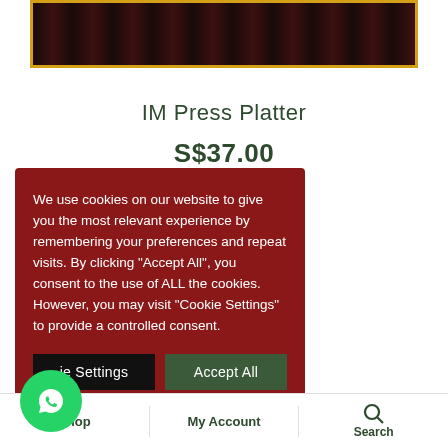[Figure (photo): Product image showing a dark food item (cookies/chocolate pieces) on a red background, framed with a yellow/gold border]
IM Press Platter
S$37.00
We use cookies on our website to give you the most relevant experience by remembering your preferences and repeat visits. By clicking “Accept All”, you consent to the use of ALL the cookies. However, you may visit "Cookie Settings" to provide a controlled consent.
Cookie Settings | Accept All
Shop | My Account | Search